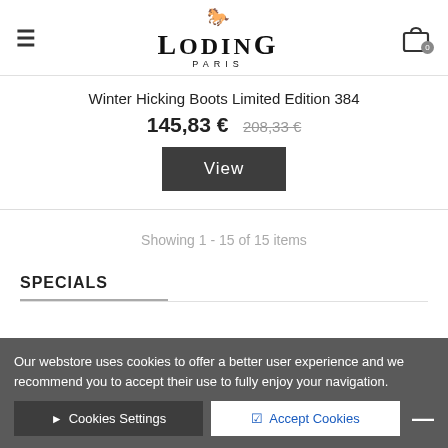Loding Paris — navigation header with hamburger menu and cart icon (0 items)
Winter Hicking Boots Limited Edition 384
145,83 € 208,33 €
View
Showing 1 - 15 of 15 items
SPECIALS
Our webstore uses cookies to offer a better user experience and we recommend you to accept their use to fully enjoy your navigation.
Cookies Settings  Accept Cookies